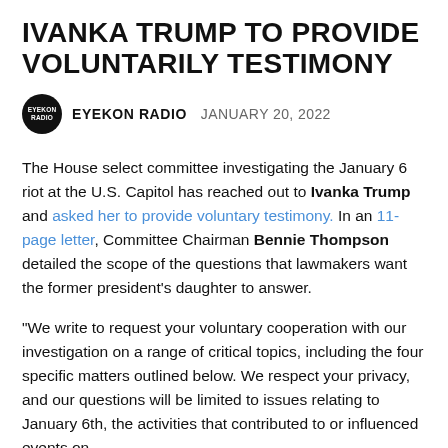IVANKA TRUMP TO PROVIDE VOLUNTARILY TESTIMONY
EYEKON RADIO   JANUARY 20, 2022
The House select committee investigating the January 6 riot at the U.S. Capitol has reached out to Ivanka Trump and asked her to provide voluntary testimony. In an 11-page letter, Committee Chairman Bennie Thompson detailed the scope of the questions that lawmakers want the former president's daughter to answer.
"We write to request your voluntary cooperation with our investigation on a range of critical topics, including the four specific matters outlined below. We respect your privacy, and our questions will be limited to issues relating to January 6th, the activities that contributed to or influenced events on